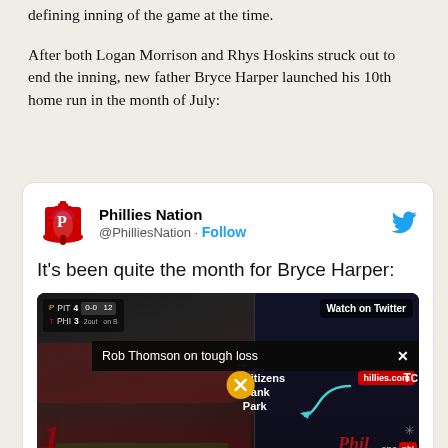defining inning of the game at the time.
After both Logan Morrison and Rhys Hoskins struck out to end the inning, new father Bryce Harper launched his 10th home run in the month of July:
[Figure (screenshot): Embedded tweet from @PhilliesNation with text 'It's been quite the month for Bryce Harper:' and a video screenshot showing a baseball game at Citizens Bank Park with an overlaid popup bar reading 'Rob Thomson on tough loss']